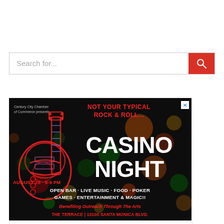Search for...
[Figure (illustration): Casino Night advertisement for Century City Chamber of Commerce. Dark background with colorful bokeh lights, neon guitar graphic on left. Red text: NOT YOUR TYPICAL ROCK & ROLL... White text: CASINO NIGHT. Red text: AUGUST 25 · 5-9 PM. White text: OPEN BAR · LIVE MUSIC · FOOD · POKER GAMES · ENTERTAINMENT & MAGIC!! Red italic text: Benefiting Outreach Through The Arts. Red text: THE TERRACE | 10100 SANTA MONICA BLVD. Blue X close button top right.]